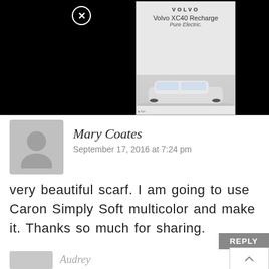[Figure (screenshot): Volvo XC40 Recharge Pure Electric advertisement on black background with close button, showing car image and color selector]
Mary Coates
September 17, 2016 at 7:24 pm
very beautiful scarf. I am going to use Caron Simply Soft multicolor and make it. Thanks so much for sharing.
REPLY
Audrey